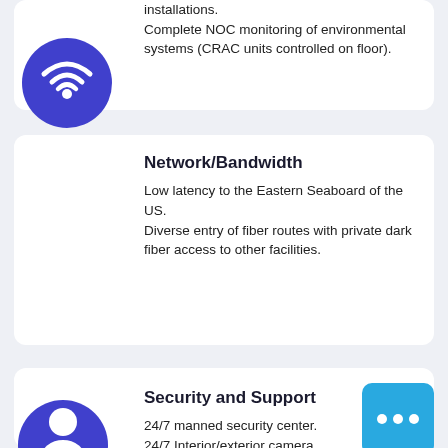installations. Complete NOC monitoring of environmental systems (CRAC units controlled on floor).
Network/Bandwidth
Low latency to the Eastern Seaboard of the US. Diverse entry of fiber routes with private dark fiber access to other facilities.
[Figure (illustration): Blue circle with white WiFi signal icon]
Security and Support
24/7 manned security center. 24/7 Interior/exterior camera system monitored on and off site.
[Figure (illustration): Blue rounded square with white speech bubble / chat dots icon]
[Figure (illustration): Blue circle with white security/person icon (partially visible)]